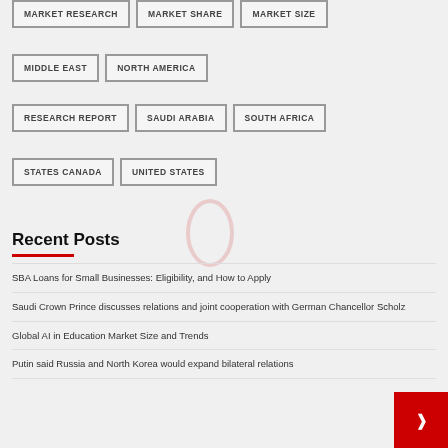MARKET RESEARCH
MARKET SHARE
MARKET SIZE
MIDDLE EAST
NORTH AMERICA
RESEARCH REPORT
SAUDI ARABIA
SOUTH AFRICA
STATES CANADA
UNITED STATES
Recent Posts
SBA Loans for Small Businesses: Eligibility, and How to Apply
Saudi Crown Prince discusses relations and joint cooperation with German Chancellor Scholz
Global AI in Education Market Size and Trends
Putin said Russia and North Korea would expand bilateral relations